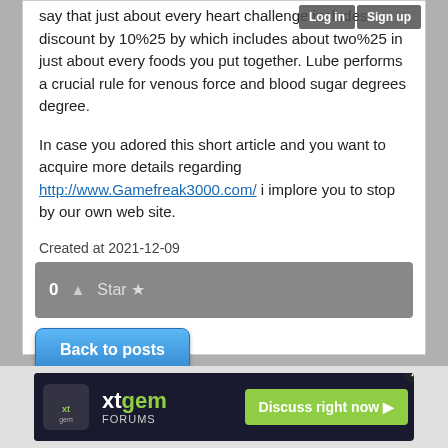say that just about every heart challenge includes discount by 10%25 by which includes about two%25 in just about every foods you put together. Lube performs a crucial rule for venous force and blood sugar degrees degree.
In case you adored this short article and you want to acquire more details regarding http://www.Gamefreak3000.com/ i implore you to stop by our own web site.
Created at 2021-12-09
[Figure (other): Vote bar showing 0 upvotes and Star button]
[Figure (other): Back to posts button]
This post has no comments - be the first one!
UNDER MAINTENANCE
[Figure (other): xtgem FORUMS advertisement banner with Discuss right now button]